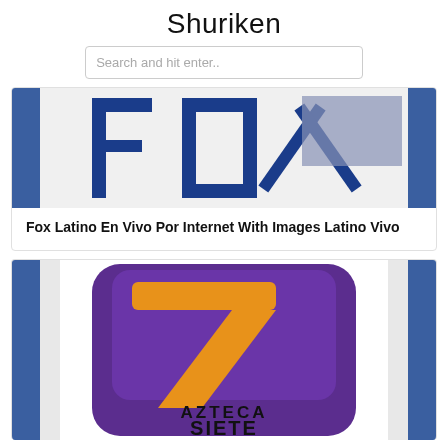Shuriken
Search and hit enter..
[Figure (photo): Partial Fox logo image - blue letters FOX on white background with blue vertical bars on sides]
Fox Latino En Vivo Por Internet With Images Latino Vivo
[Figure (logo): Azteca Siete TV channel logo - purple rounded square with large orange number 7 and text AZTECA SIETE at bottom]